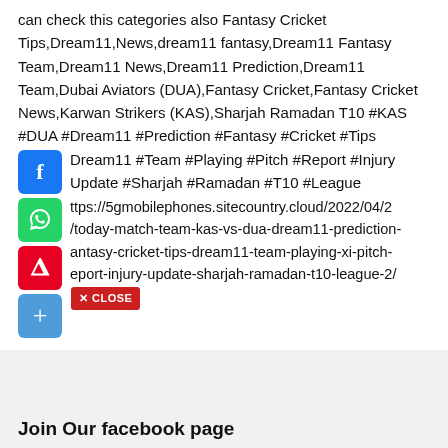can check this categories also Fantasy Cricket Tips,Dream11,News,dream11 fantasy,Dream11 Fantasy Team,Dream11 News,Dream11 Prediction,Dream11 Team,Dubai Aviators (DUA),Fantasy Cricket,Fantasy Cricket News,Karwan Strikers (KAS),Sharjah Ramadan T10 #KAS #DUA #Dream11 #Prediction #Fantasy #Cricket #Tips Dream11 #Team #Playing #Pitch #Report #Injury Update #Sharjah #Ramadan #T10 #League
ttps://5gmobilephones.sitecountry.cloud/2022/04/2/today-match-team-kas-vs-dua-dream11-prediction-antasy-cricket-tips-dream11-team-playing-xi-pitch-eport-injury-update-sharjah-ramadan-t10-league-2/
Join Our facebook page